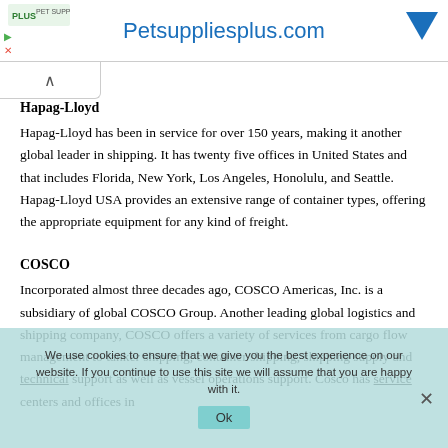[Figure (other): Advertisement banner for Petsuppliesplus.com with logo and navigation controls]
Hapag-Lloyd
Hapag-Lloyd has been in service for over 150 years, making it another global leader in shipping. It has twenty five offices in United States and that includes Florida, New York, Los Angeles, Honolulu, and Seattle. Hapag-Lloyd USA provides an extensive range of container types, offering the appropriate equipment for any kind of freight.
COSCO
Incorporated almost three decades ago, COSCO Americas, Inc. is a subsidiary of global COSCO Group. Another leading global logistics and shipping company, COSCO offers a variety of services from cargo flow management to tanker shipping, container shipping, shipping supply and technical support as well as vessel operations support. Cosco has service centers and offices in
We use cookies to ensure that we give you the best experience on our website. If you continue to use this site we will assume that you are happy with it.